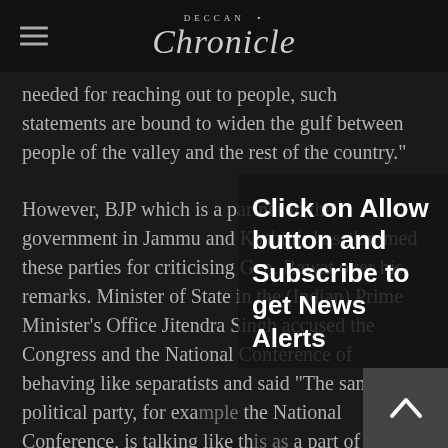Deccan Chronicle
needed for reaching out to people, such statements are bound to widen the gulf between people of the valley and the rest of the country."
However, BJP which is a partner in the government in Jammu and Kashmir has slammed these parties for criticising Gen. Rawat over his remarks. Minister of State in the (Indian) Prime Minister's Office Jitendra Singh accused the Congress and the National Conference of behaving like separatists and said “The same political party, for exa… the National Conference, is talking like th… as a part of the UPA was the one which even… the extent of demanding bombardment o… camps in Pakistan.” He alleged, “When the… Congress and the National Conference) a… power, they swear by India and Kashmir as an integral part of India. The moment they are shunted
Click on Allow button and Subscribe to get News Alerts